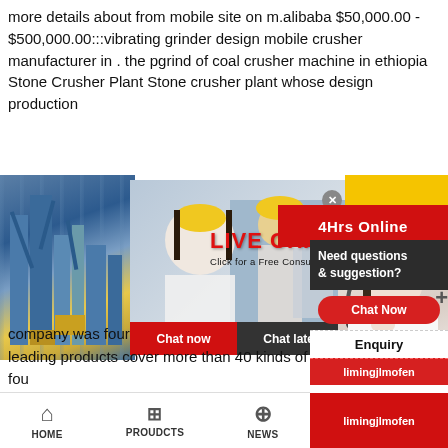more details about from mobile site on m.alibaba $50,000.00 - $500,000.00:::vibrating grinder design mobile crusher manufacturer in . the pgrind of coal crusher machine in ethiopia Stone Crusher Plant Stone crusher plant whose design production
[Figure (screenshot): Live chat popup overlay on industrial website showing: left - industrial plant photo, center - person in yellow hard hat with LIVE CHAT text in red and 'Click for a Free Consultation', workers in background, Chat now (red) and Chat later (dark) buttons, right - female customer service agent with headset, yellow and red banners showing '4Hrs Online']
company was four leading products cover more than 40 kinds of fou modules: building crushing, mine crushing, indus green building materials. All products have passe international quality system certification, EU CE c
[Figure (screenshot): Right-side chat widget with dark header 'Need questions & suggestion?', red 'Chat Now' button, 'Enquiry' text, and red 'limingjlmofen' label]
HOME    PROUDCTS    NEWS    limingjlmofen